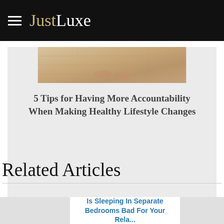JustLuxe
[Figure (photo): Partial view of feet on a wooden floor, cropped image for article about healthy lifestyle]
5 Tips for Having More Accountability When Making Healthy Lifestyle Changes
Related Articles
Is Sleeping In Separate Bedrooms Bad For Your Rela...